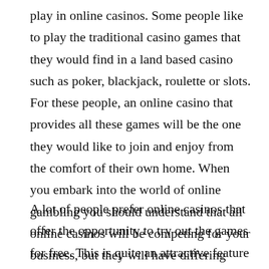play in online casinos. Some people like to play the traditional casino games that they would find in a land based casino such as poker, blackjack, roulette or slots. For these people, an online casino that provides all these games will be the one they would like to join and enjoy from the comfort of their own home. When you embark into the world of online gambling you should understand that all online casinos will be competing for your business, but they will have differing bonuses, games and other appealing factors to offer.
A lot of people prefer online casinos that offer the opportunity to try out the games for free. This is quite an attractive feature as land based casinos do